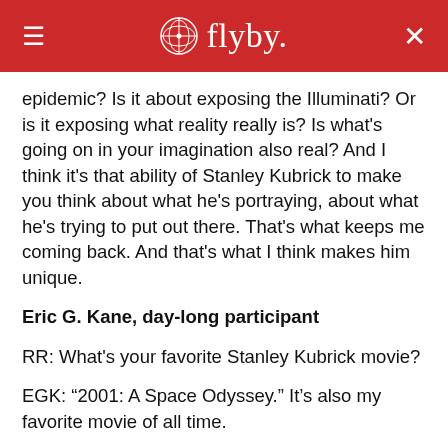flyby.
epidemic? Is it about exposing the Illuminati? Or is it exposing what reality really is? Is what's going on in your imagination also real? And I think it's that ability of Stanley Kubrick to make you think about what he's portraying, about what he's trying to put out there. That's what keeps me coming back. And that's what I think makes him unique.
Eric G. Kane, day-long participant
RR: What's your favorite Stanley Kubrick movie?
EGK: “2001: A Space Odyssey.” It’s also my favorite movie of all time.
RR: What do you think it is about Stanley